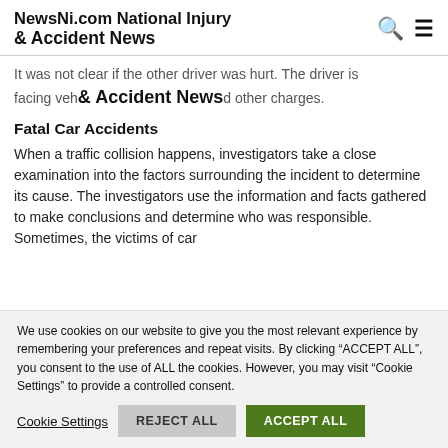NewsNi.com National Injury & Accident News
It was not clear if the other driver was hurt. The driver is facing veh& Accident Newsd other charges.
Fatal Car Accidents
When a traffic collision happens, investigators take a close examination into the factors surrounding the incident to determine its cause. The investigators use the information and facts gathered to make conclusions and determine who was responsible. Sometimes, the victims of car
We use cookies on our website to give you the most relevant experience by remembering your preferences and repeat visits. By clicking "ACCEPT ALL", you consent to the use of ALL the cookies. However, you may visit "Cookie Settings" to provide a controlled consent.